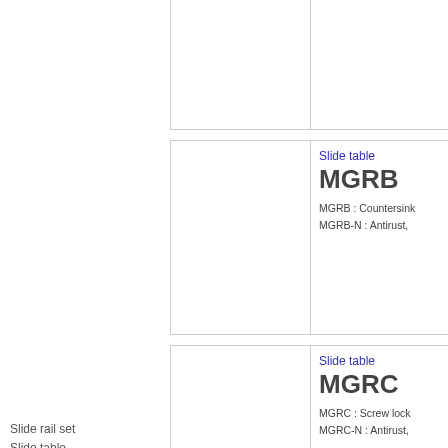| (image) |  |
| (image) | Slide table
MGRB
MGRB : Countersink...
MGRB-N : Antirust,... |
| (image) | Slide table
MGRC
MGRC : Screw lock...
MGRC-N : Antirust,... |
| (image) | Slide table |
Slide rail set
Slide table